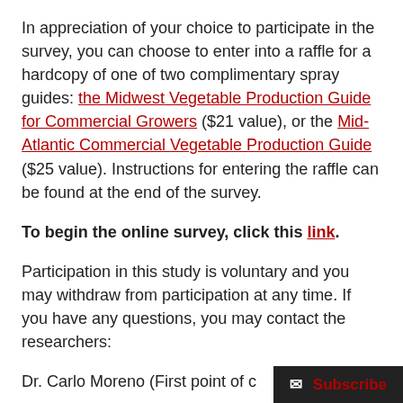In appreciation of your choice to participate in the survey, you can choose to enter into a raffle for a hardcopy of one of two complimentary spray guides: the Midwest Vegetable Production Guide for Commercial Growers ($21 value), or the Mid-Atlantic Commercial Vegetable Production Guide ($25 value). Instructions for entering the raffle can be found at the end of the survey.
To begin the online survey, click this link.
Participation in this study is voluntary and you may withdraw from participation at any time. If you have any questions, you may contact the researchers:
Dr. Carlo Moreno (First point of c...